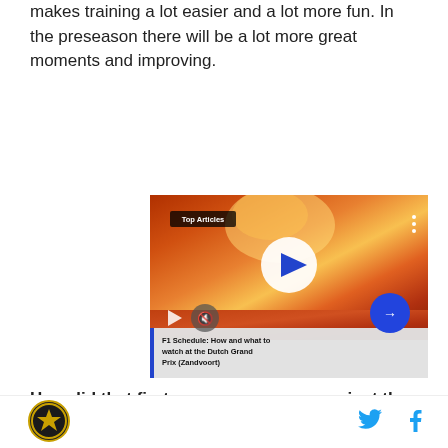makes training a lot easier and a lot more fun. In the preseason there will be a lot more great moments and improving.
[Figure (screenshot): Embedded video player showing a crowd of orange-clad fans with a play button in the center. Top-left badge reads 'Top Articles'. Bottom caption bar shows 'F1 Schedule: How and what to watch at the Dutch Grand Prix (Zandvoort)' with a blue left border. Controls include mute icon and blue arrow button.]
How did that first pre-season game against the